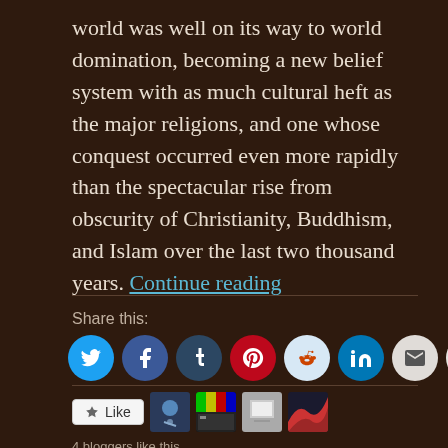world was well on its way to world domination, becoming a new belief system with as much cultural heft as the major religions, and one whose conquest occurred even more rapidly than the spectacular rise from obscurity of Christianity, Buddhism, and Islam over the last two thousand years. Continue reading
Share this:
[Figure (infographic): Row of social sharing icon buttons: Twitter (blue bird), Facebook (blue f), Tumblr (dark blue t), Pinterest (red P), Reddit (light blue alien), LinkedIn (blue in), Email (grey envelope), Print (grey printer)]
4 bloggers like this.